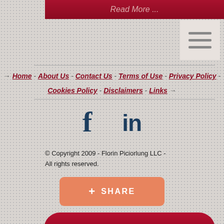Read More ...
→ Home - About Us - Contact Us - Terms of Use - Privacy Policy - Cookies Policy - Disclaimers - Links →
[Figure (illustration): Facebook 'f' and LinkedIn 'in' social media icons in dark navy blue]
© Copyright 2009 - Florin Piciorlung LLC -
All rights reserved.
+ SHARE
Contact Us
Piciorlung LLC operates as a private Lawyer's Limited Company, registered with the Registrar of Companies in Nicosia under number HE 319133 and